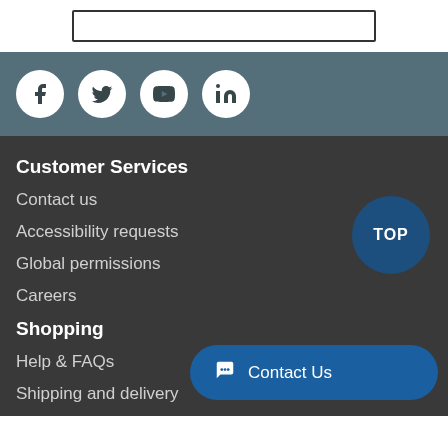[Figure (screenshot): Search input box outline at top of page]
[Figure (infographic): Social media icons row: Facebook, Twitter, YouTube, LinkedIn on grey-blue background]
Customer Services
Contact us
Accessibility requests
Global permissions
Careers
Shopping
Help & FAQs
Shipping and delivery
TOP
Contact Us